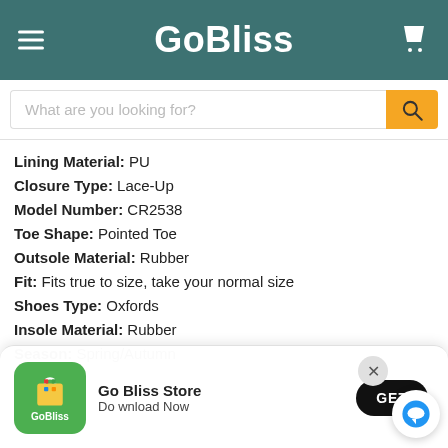GoBliss
Lining Material: PU
Closure Type: Lace-Up
Model Number: CR2538
Toe Shape: Pointed Toe
Outsole Material: Rubber
Fit: Fits true to size, take your normal size
Shoes Type: Oxfords
Insole Material: Rubber
Season: Spring/Autumn
[Figure (screenshot): App download popup banner for GoBliss Store with GET button and close X button]